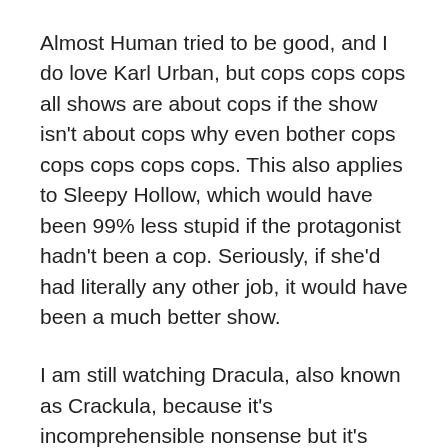Almost Human tried to be good, and I do love Karl Urban, but cops cops cops all shows are about cops if the show isn't about cops why even bother cops cops cops cops cops. This also applies to Sleepy Hollow, which would have been 99% less stupid if the protagonist hadn't been a cop. Seriously, if she'd had literally any other job, it would have been a much better show.
I am still watching Dracula, also known as Crackula, because it's incomprehensible nonsense but it's entertaining incomprehensible nonsense. Sure, Van Helsing is a mad scientist who brought Dracula back to life so that together they can perfect green, wireless energy and destroy British big oil. Or... whatever is going on. I don't know. I admit that I have trouble telling all the random British dudes apart. So far their sideburns are